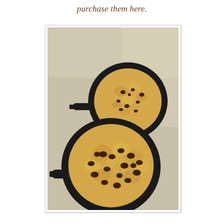purchase them here.
[Figure (photo): Two cast iron skillets on a metal baking sheet, each filled with raw chocolate chip cookie dough spread flat to fill the round pan. The foreground skillet is larger and shows chunky chocolate chips pressed into the pale yellow dough. A skillet handle is visible on the left side of each pan.]